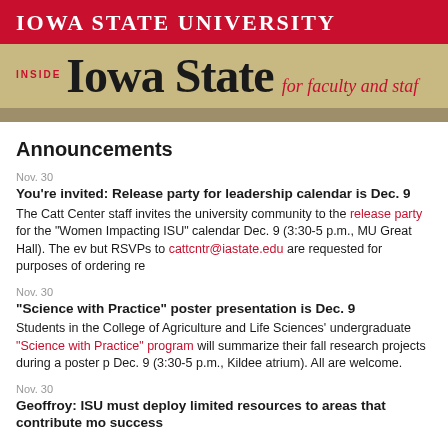Iowa State University
INSIDE Iowa State for faculty and staff
Announcements
Nov. 30
You're invited: Release party for leadership calendar is Dec. 9
The Catt Center staff invites the university community to the release party for the "Women Impacting ISU" calendar Dec. 9 (3:30-5 p.m., MU Great Hall). The ev but RSVPs to cattcntr@iastate.edu are requested for purposes of ordering re
Nov. 30
"Science with Practice" poster presentation is Dec. 9
Students in the College of Agriculture and Life Sciences' undergraduate "Science with Practice" program will summarize their fall research projects during a poster p Dec. 9 (3:30-5 p.m., Kildee atrium). All are welcome.
Nov. 30
Geoffroy: ISU must deploy limited resources to areas that contribute mo success